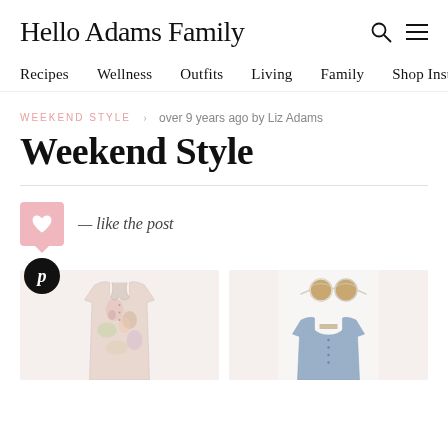Hello Adams Family
Recipes   Wellness   Outfits   Living   Family   Shop Insta
WEEKEND STYLE   over 9 years ago by Liz Adams
Weekend Style
— like the post
[Figure (photo): Floral sleeveless shirt/vest in pink and yellow watercolor floral print]
[Figure (photo): White round sunglasses with brown lenses, and a light blue denim sleeveless vest/jacket below]